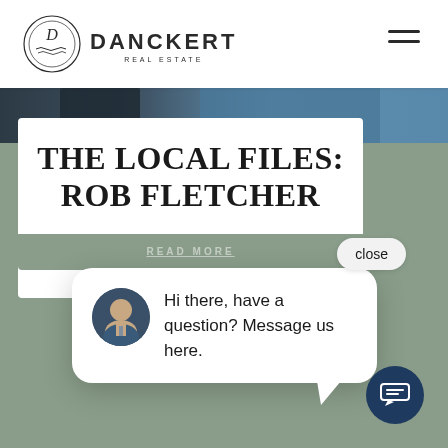[Figure (logo): Danckert Real Estate logo with circular emblem containing letter D and wave, company name DANCKERT REAL ESTATE]
[Figure (photo): Header navigation with hamburger menu icon (three horizontal lines) on right side]
[Figure (photo): Partial photo strip showing people in dark and blue clothing at top of page content area]
THE LOCAL FILES: ROB FLETCHER
[Figure (screenshot): Chat popup widget showing avatar of a man in suit, message: Hi there, have a question? Message us here. With a close button and dark navy chat bubble button in bottom right]
Hi there, have a question? Message us here.